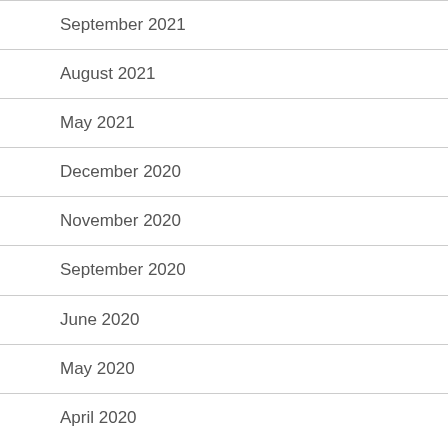September 2021
August 2021
May 2021
December 2020
November 2020
September 2020
June 2020
May 2020
April 2020